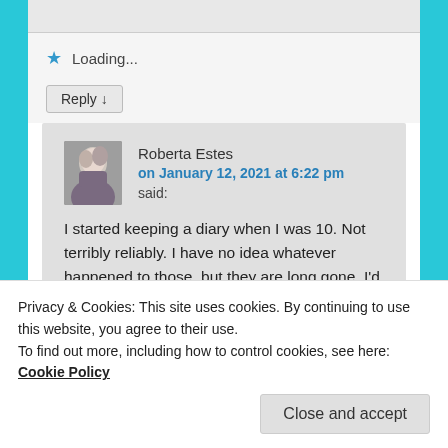Loading...
Reply ↓
Roberta Estes
on January 12, 2021 at 6:22 pm said:
I started keeping a diary when I was 10. Not terribly reliably. I have no idea whatever happened to those, but they are long gone. I'd like to meet my 10-year old self again. 🙂
Privacy & Cookies: This site uses cookies. By continuing to use this website, you agree to their use.
To find out more, including how to control cookies, see here: Cookie Policy
Close and accept